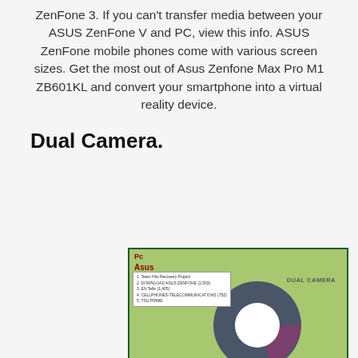ZenFone 3. If you can't transfer media between your ASUS ZenFone V and PC, view this info. ASUS ZenFone mobile phones come with various screen sizes. Get the most out of Asus Zenfone Max Pro M1 ZB601KL and convert your smartphone into a virtual reality device.
Dual Camera.
[Figure (donut-chart): Donut chart with legend listing: 1. Team Hits Recovery Project, 2. DOWNLOAD ASUS ZENFONE (1503), 3. EN Telle (1405), 4. CELLPHONES-TELECOMMUNICATIONS (752), 5. TSU PRIME. Chart displayed on green background with dark grey and purple segments.]